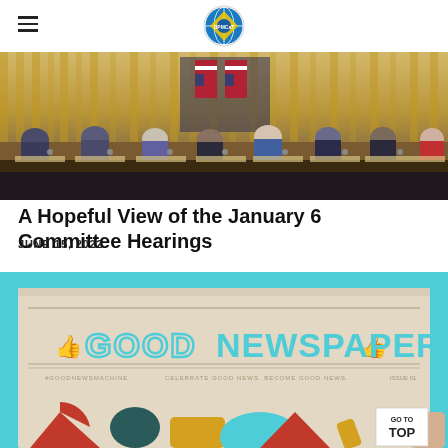DPMCaHT logo and hamburger menu
[Figure (photo): January 6 Committee hearing panel seated at a long dais with American flags and a golden curtained backdrop]
A Hopeful View of the January 6 Committee Hearings
JUNE 15, 2022
[Figure (photo): Good Newspaper front page held up against a teal background, showing colorful graphic elements and the tagline CELEBRATE GOOD NEWS. BECOME GOOD NEWS. A GO TO TOP button is visible in the lower right corner.]